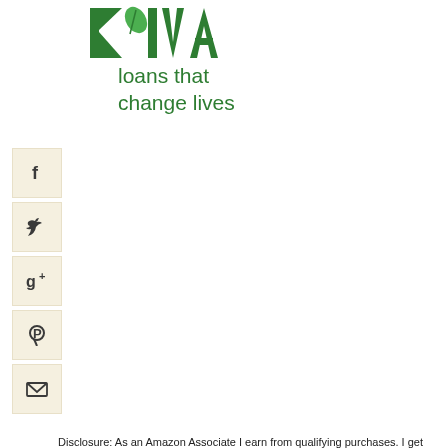[Figure (logo): Kiva logo - green letters with leaf icon, showing 'KIVI' style letters with leaf]
loans that
change lives
[Figure (infographic): Social media share buttons: Facebook, Twitter, Google+, Pinterest, Email - beige/cream colored square buttons with dark icons]
Disclosure: As an Amazon Associate I earn from qualifying purchases. I get commissions for purchases made through links in my posts. This is to help support my expenses for maintaining Wild Yeast.
copyright